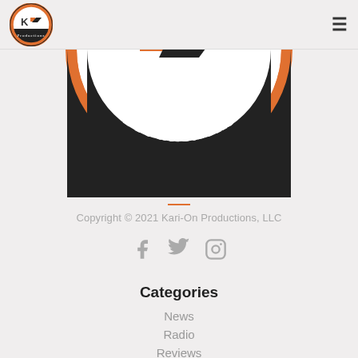Kari-On Productions logo header with hamburger menu
[Figure (logo): Kari-On Productions circular logo — bottom half showing 'KO' letters in orange and black with 'Productions' text on dark arc, orange outer ring]
Copyright © 2021 Kari-On Productions, LLC
[Figure (infographic): Social media icons: Facebook (f), Twitter (bird), Instagram (camera)]
Categories
News
Radio
Reviews